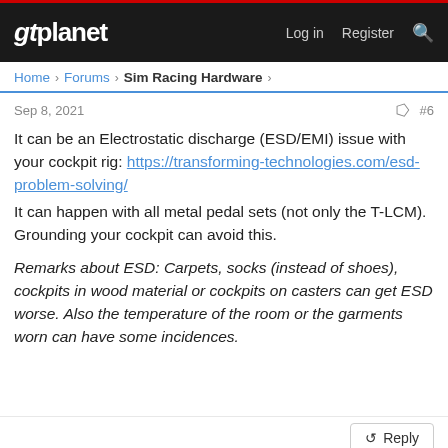gtplanet | Log in  Register
Home > Forums > Sim Racing Hardware >
Sep 8, 2021   #6
It can be an Electrostatic discharge (ESD/EMI) issue with your cockpit rig: https://transforming-technologies.com/esd-problem-solving/
It can happen with all metal pedal sets (not only the T-LCM). Grounding your cockpit can avoid this.

Remarks about ESD: Carpets, socks (instead of shoes), cockpits in wood material or cockpits on casters can get ESD worse. Also the temperature of the room or the garments worn can have some incidences.